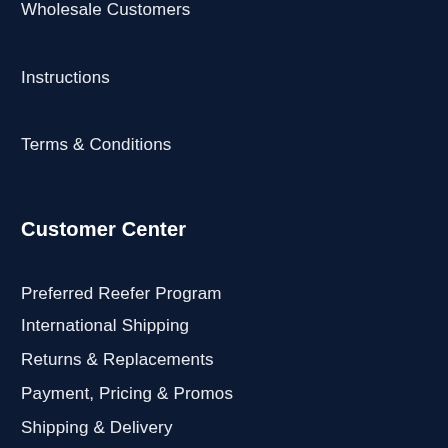Wholesale Customers
Instructions
Terms & Conditions
Customer Center
Preferred Reefer Program
International Shipping
Returns & Replacements
Payment, Pricing & Promos
Shipping & Delivery